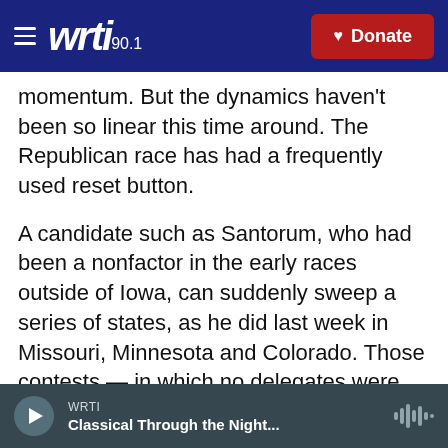WRTI 90.1 — Donate
momentum. But the dynamics haven't been so linear this time around. The Republican race has had a frequently used reset button.
A candidate such as Santorum, who had been a nonfactor in the early races outside of Iowa, can suddenly sweep a series of states, as he did last week in Missouri, Minnesota and Colorado. Those contests — in which no delegates were awarded — have been enough to land him on top of the polls in Michigan.
After each primary, the national polls have followed that state's results, while the next state to vote
WRTI — Classical Through the Night...